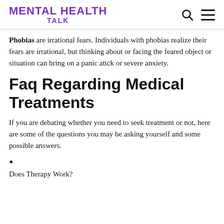MENTAL HEALTH TALK
Phobias are irrational fears. Individuals with phobias realize their fears are irrational, but thinking about or facing the feared object or situation can bring on a panic attck or severe anxiety.
Faq Regarding Medical Treatments
If you are debating whether you need to seek treatment or not, here are some of the questions you may be asking yourself and some possible answers.
Does Therapy Work?